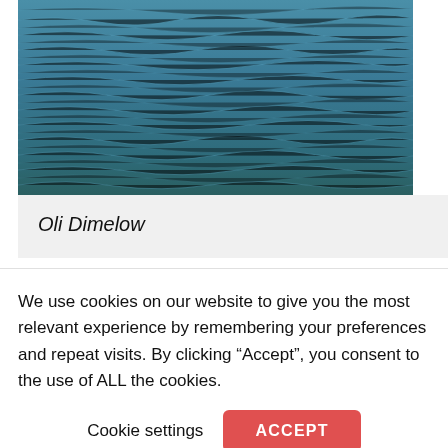[Figure (photo): Ocean/sea water surface photograph showing blue-green waves and ripples]
Oli Dimelow
Edd Christian, volunteer coxswain of Douglas RNLI commented, 'I am grateful we could draw on the support of
We use cookies on our website to give you the most relevant experience by remembering your preferences and repeat visits. By clicking “Accept”, you consent to the use of ALL the cookies.
Cookie settings   ACCEPT